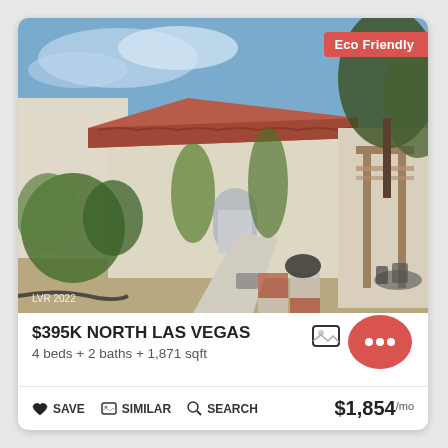[Figure (photo): Exterior photo of a single-story stucco home in North Las Vegas with a tile roof, green shrubs, a concrete walkway leading to the front door, desert landscaping, and a pergola with outdoor furniture on the right. 'LVR 2022' watermark in lower-left corner. 'Eco Friendly' badge in upper-right.]
$395K NORTH LAS VEGAS
4 beds + 2 baths + 1,871 sqft
$1,854 /mo
SAVE  SIMILAR  SEARCH